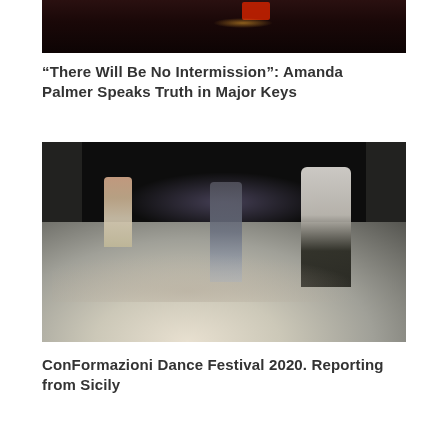[Figure (photo): Dark stage photo showing a performer in red, lit from the side, at a piano or instrument in low lighting]
“There Will Be No Intermission”: Amanda Palmer Speaks Truth in Major Keys
[Figure (photo): Dance performance photo showing three dancers on a stage floor scattered with small objects and rocks. A woman dances on the left, two men dance in the center and right foreground, with dark curtains in the background.]
ConFormazioni Dance Festival 2020. Reporting from Sicily